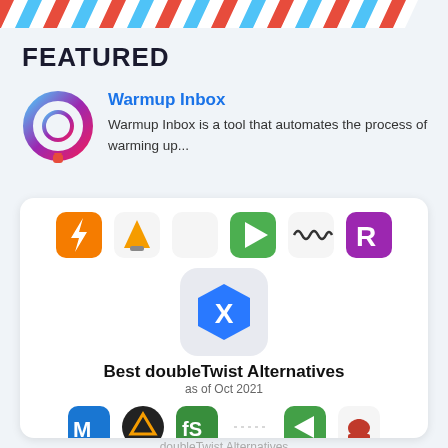[Figure (illustration): Airmail-style diagonal stripe banner in red, white, and blue]
FEATURED
[Figure (logo): Warmup Inbox logo - circular gradient icon with pin shape]
Warmup Inbox
Warmup Inbox is a tool that automates the process of warming up...
[Figure (illustration): Best doubleTwist Alternatives card showing app icons including Overcast, VLC, Capo, Infuse, Audirvana, Reeder in top row; doubleTwist hexagon logo in center; Mango, Clip Studio, Folx, separator, Copilot, Constructor icons in bottom row. Title: Best doubleTwist Alternatives as of Oct 2021]
doubleTwist Alternatives